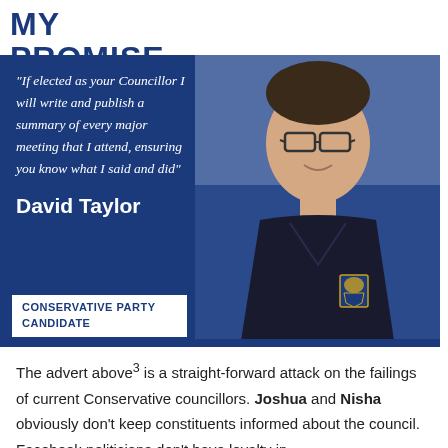MY PROMISE
[Figure (photo): Blue campaign panel with photo of David Taylor, a man with glasses wearing a dark jacket with a blue and gold shield badge. The panel contains an italic quote and his name, plus a 'Conservative Party Candidate' label box.]
The advert above³ is a straight-forward attack on the failings of current Conservative councillors. Joshua and Nisha obviously don’t keep constituents informed about the council. Facebook politicians don’t have loyalty in